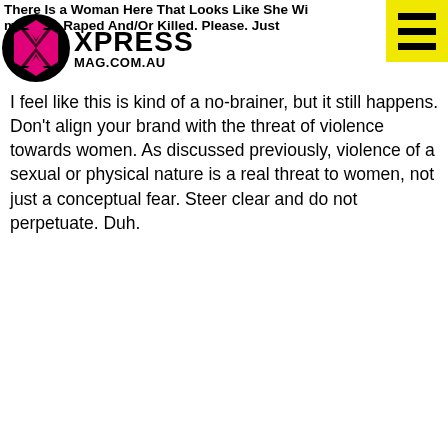There Is a Woman Here That Looks Like She Will Be Imminently Raped And/Or Killed. Please. Just... XPRESS MAG.COM.AU
I feel like this is kind of a no-brainer, but it still happens. Don't align your brand with the threat of violence towards women. As discussed previously, violence of a sexual or physical nature is a real threat to women, not just a conceptual fear. Steer clear and do not perpetuate. Duh.